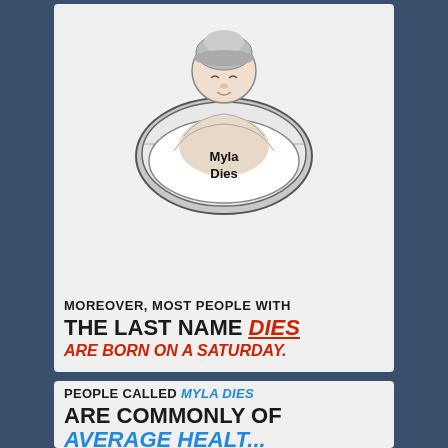[Figure (illustration): Cartoon illustration of a sleeping baby wrapped in a blanket inside a crib/basket. The blanket has 'Myla Dies' written on it in bold black text.]
MOREOVER, MOST PEOPLE WITH THE LAST NAME DIES ARE BORN ON A SATURDAY.
PEOPLE CALLED MYLA DIES ARE COMMONLY OF AVERAGE HEALTH